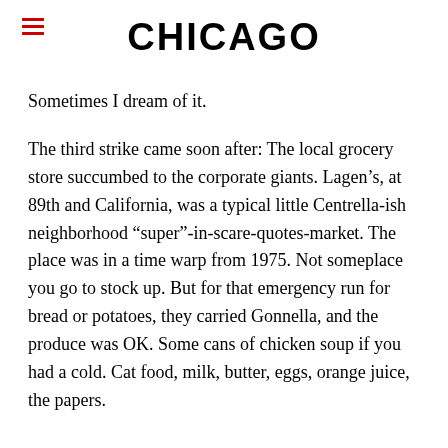CHICAGO
Sometimes I dream of it.
The third strike came soon after: The local grocery store succumbed to the corporate giants. Lagen’s, at 89th and California, was a typical little Centrella-ish neighborhood “super”-in-scare-quotes-market. The place was in a time warp from 1975. Not someplace you go to stock up. But for that emergency run for bread or potatoes, they carried Gonnella, and the produce was OK. Some cans of chicken soup if you had a cold. Cat food, milk, butter, eggs, orange juice, the papers.